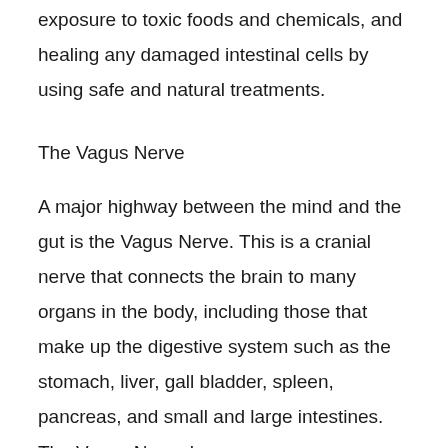exposure to toxic foods and chemicals, and healing any damaged intestinal cells by using safe and natural treatments.
The Vagus Nerve
A major highway between the mind and the gut is the Vagus Nerve. This is a cranial nerve that connects the brain to many organs in the body, including those that make up the digestive system such as the stomach, liver, gall bladder, spleen, pancreas, and small and large intestines. The Vagus Nerve has